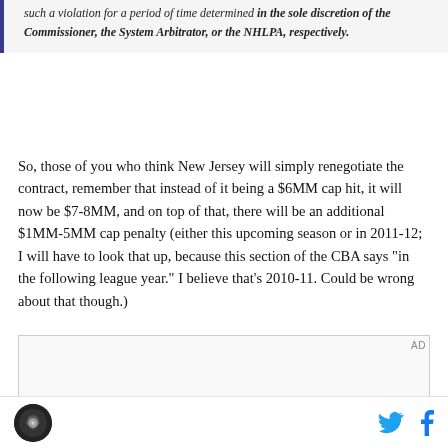such a violation for a period of time determined in the sole discretion of the Commissioner, the System Arbitrator, or the NHLPA, respectively.
So, those of you who think New Jersey will simply renegotiate the contract, remember that instead of it being a $6MM cap hit, it will now be $7-8MM, and on top of that, there will be an additional $1MM-5MM cap penalty (either this upcoming season or in 2011-12; I will have to look that up, because this section of the CBA says "in the following league year." I believe that's 2010-11. Could be wrong about that though.)
AD